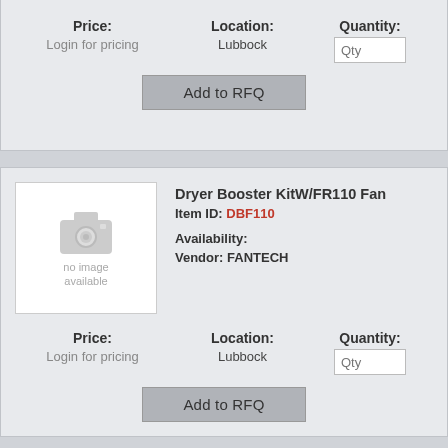Price: Login for pricing | Location: Lubbock | Quantity: Qty
Add to RFQ
[Figure (photo): No image available placeholder with camera icon]
Dryer Booster KitW/FR110 Fan
Item ID: DBF110
Availability:
Vendor: FANTECH
Price: Login for pricing | Location: Lubbock | Quantity: Qty
Add to RFQ